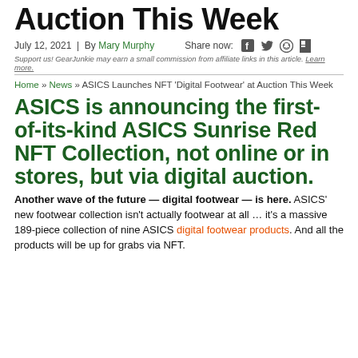Auction This Week
July 12, 2021 | By Mary Murphy   Share now:
Support us! GearJunkie may earn a small commission from affiliate links in this article. Learn more.
Home » News » ASICS Launches NFT 'Digital Footwear' at Auction This Week
ASICS is announcing the first-of-its-kind ASICS Sunrise Red NFT Collection, not online or in stores, but via digital auction.
Another wave of the future — digital footwear — is here. ASICS' new footwear collection isn't actually footwear at all … it's a massive 189-piece collection of nine ASICS digital footwear products. And all the products will be up for grabs via NFT.